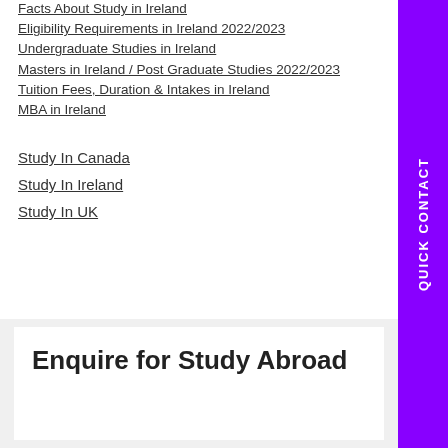Facts About Study in Ireland
Eligibility Requirements in Ireland 2022/2023
Undergraduate Studies in Ireland
Masters in Ireland / Post Graduate Studies 2022/2023
Tuition Fees, Duration & Intakes in Ireland
MBA in Ireland
Study In Canada
Study In Ireland
Study In UK
Enquire for Study Abroad
[Figure (other): QUICK CONTACT vertical sidebar button in purple]